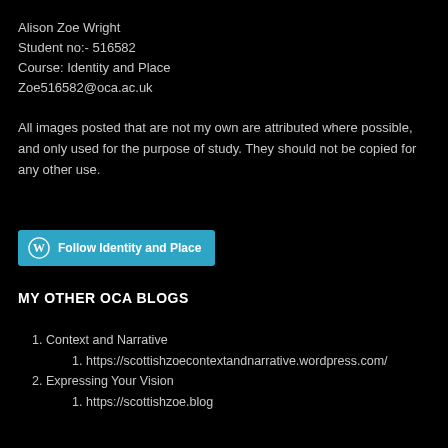Alison Zoe Wright
Student no:- 516582
Course: Identity and Place
Zoe516582@oca.ac.uk
All images posted that are not my own are attributed where possible, and only used for the purpose of study. They should not be copied for any other use.
[Figure (other): WordPress Follow button — 'Follow Identity and Place' in cyan/blue with WordPress logo icon]
MY OTHER OCA BLOGS
1. Context and Narrative
   1. https://scottishzoecontextandnarrative.wordpress.com/
2. Expressing Your Vision
   1. https://scottishzoe.blog